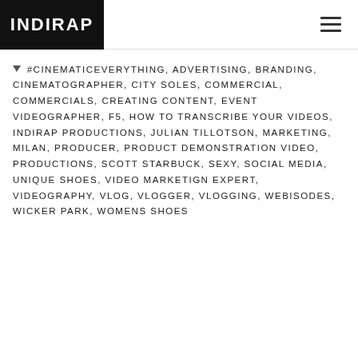INDIRAP
#CINEMATICEVERYTHING, ADVERTISING, BRANDING, CINEMATOGRAPHER, CITY SOLES, COMMERCIAL, COMMERCIALS, CREATING CONTENT, EVENT VIDEOGRAPHER, F5, HOW TO TRANSCRIBE YOUR VIDEOS, INDIRAP PRODUCTIONS, JULIAN TILLOTSON, MARKETING, MILAN, PRODUCER, PRODUCT DEMONSTRATION VIDEO, PRODUCTIONS, SCOTT STARBUCK, SEXY, SOCIAL MEDIA, UNIQUE SHOES, VIDEO MARKETIGN EXPERT, VIDEOGRAPHY, VLOG, VLOGGER, VLOGGING, WEBISODES, WICKER PARK, WOMENS SHOES